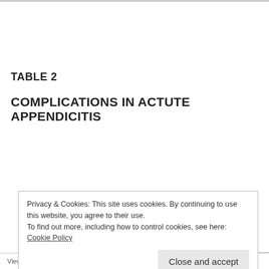TABLE 2
COMPLICATIONS IN ACTUTE APPENDICITIS
| Wound infection |
| Intra abdominal abscess formation |
| Post operative intestinal obstruction |
Privacy & Cookies: This site uses cookies. By continuing to use this website, you agree to their use.
To find out more, including how to control cookies, see here: Cookie Policy
View Full-text article on Appendicitis: Appendicitis